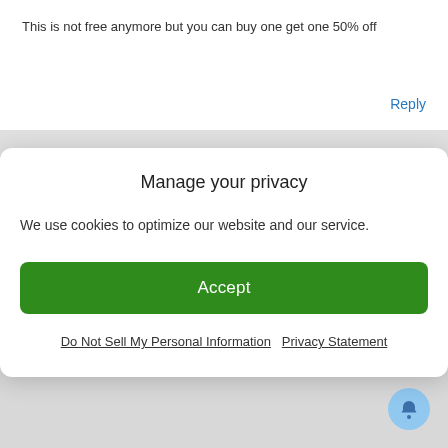This is not free anymore but you can buy one get one 50% off
Reply
Manage your privacy
We use cookies to optimize our website and our service.
Accept
Do Not Sell My Personal Information   Privacy Statement